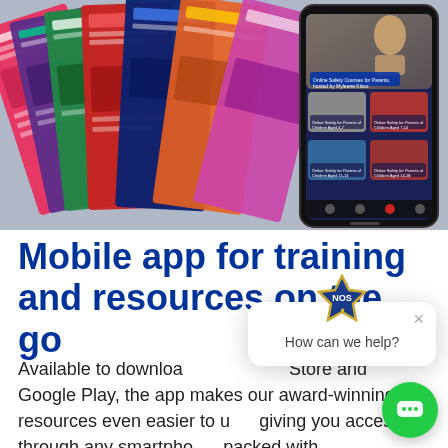[Figure (screenshot): Collage of colorful online safety resource pages and a smartphone displaying the NOS mobile app with Online Safety Courses for Parents hosted by Myleene Klass]
Mobile app for training and resources on the go
Available to download on the App Store and Google Play, the app makes our award-winning resources even easier to use, giving you access through any smartphone packed with authoritative, insightful guidance